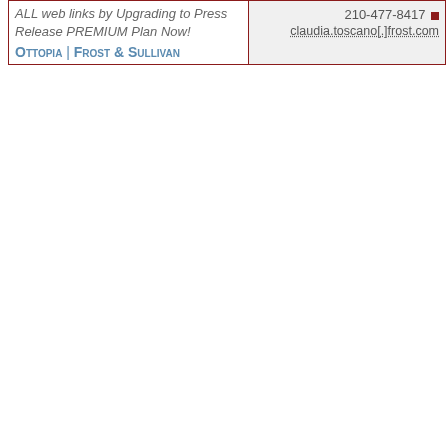| ALL web links by Upgrading to Press Release PREMIUM Plan Now!
Ottopia | Frost & Sullivan | 210-477-8417
claudia.toscano[.]frost.com |